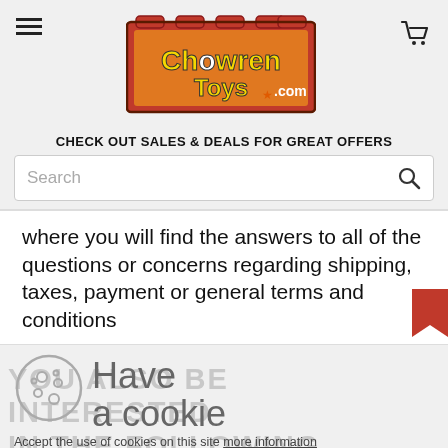Chowren Toys .com
CHECK OUT SALES & DEALS FOR GREAT OFFERS
Search
where you will find the answers to all of the questions or concerns regarding shipping, taxes, payment or general terms and conditions
Have a cookie
YOU ALSO BE INTERESTED IN THE FOLLOWING PRODUCT(S)
Accept the use of cookies on this site more information
I Accept